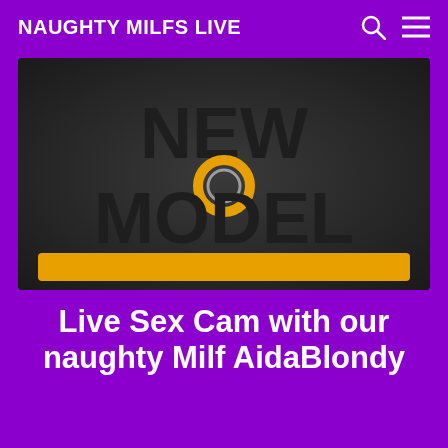NAUGHTY MILFS LIVE
[Figure (screenshot): Dark background thumbnail with bold text 'NEW MODEL' and a gold/white ring icon in the center, with a yellow/gold rectangular bar at the bottom]
Live Sex Cam with our naughty Milf AidaBlondy